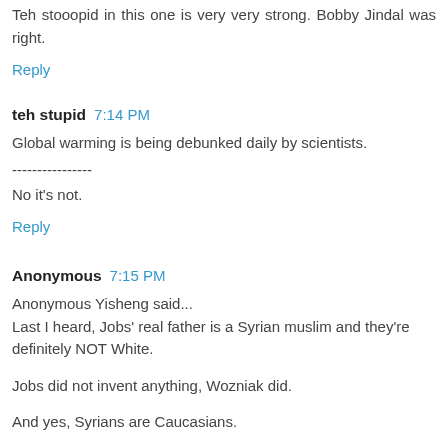Teh stooopid in this one is very very strong. Bobby Jindal was right.
Reply
teh stupid  7:14 PM
Global warming is being debunked daily by scientists.
----------------
No it's not.
Reply
Anonymous  7:15 PM
Anonymous Yisheng said...
Last I heard, Jobs' real father is a Syrian muslim and they're definitely NOT White.

Jobs did not invent anything, Wozniak did.

And yes, Syrians are Caucasians.